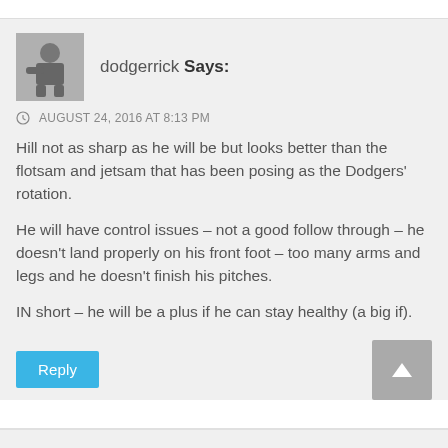dodgerrick Says:
AUGUST 24, 2016 AT 8:13 PM
Hill not as sharp as he will be but looks better than the flotsam and jetsam that has been posing as the Dodgers’ rotation.
He will have control issues – not a good follow through – he doesn’t land properly on his front foot – too many arms and legs and he doesn’t finish his pitches.
IN short – he will be a plus if he can stay healthy (a big if).